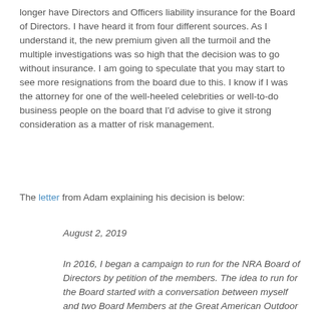longer have Directors and Officers liability insurance for the Board of Directors. I have heard it from four different sources. As I understand it, the new premium given all the turmoil and the multiple investigations was so high that the decision was to go without insurance. I am going to speculate that you may start to see more resignations from the board due to this. I know if I was the attorney for one of the well-heeled celebrities or well-to-do business people on the board that I'd advise to give it strong consideration as a matter of risk management.
The letter from Adam explaining his decision is below:
August 2, 2019
In 2016, I began a campaign to run for the NRA Board of Directors by petition of the members. The idea to run for the Board started with a conversation between myself and two Board Members at the Great American Outdoor Show in Harrisburg that February. Those two Board